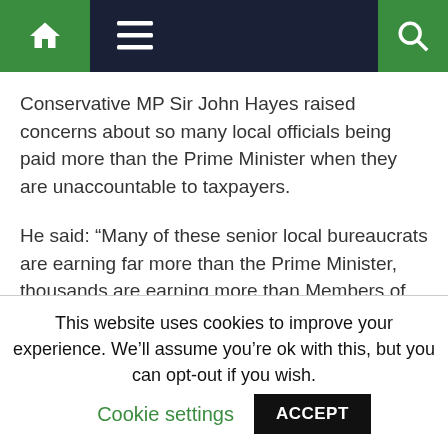Navigation bar with home, menu, and search icons
Conservative MP Sir John Hayes raised concerns about so many local officials being paid more than the Prime Minister when they are unaccountable to taxpayers.
He said: “Many of these senior local bureaucrats are earning far more than the Prime Minister, thousands are earning more than Members of Parliament.
“People whose responsibility is not for the whole country but for a locality and are being paid an awful lot of taxpayers’ money.
This website uses cookies to improve your experience. We’ll assume you’re ok with this, but you can opt-out if you wish. Cookie settings ACCEPT